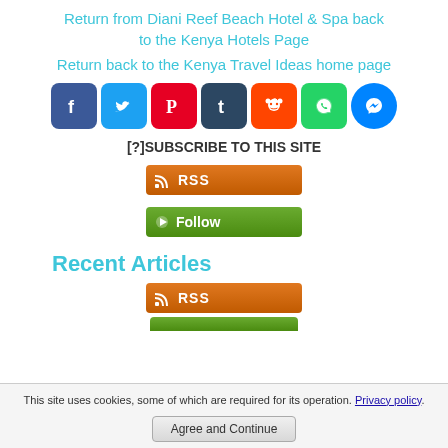Return from Diani Reef Beach Hotel & Spa back to the Kenya Hotels Page
Return back to the Kenya Travel Ideas home page
[Figure (infographic): Row of social media share icons: Facebook, Twitter, Pinterest, Tumblr, Reddit, WhatsApp, Messenger]
[?]SUBSCRIBE TO THIS SITE
[Figure (infographic): Orange RSS feed button]
[Figure (infographic): Green Follow button]
Recent Articles
[Figure (infographic): Orange RSS feed button (second)]
[Figure (infographic): Green follow button (partial, cut off)]
This site uses cookies, some of which are required for its operation. Privacy policy.
Agree and Continue